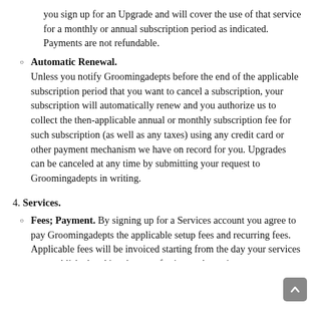you sign up for an Upgrade and will cover the use of that service for a monthly or annual subscription period as indicated. Payments are not refundable.
Automatic Renewal. Unless you notify Groomingadepts before the end of the applicable subscription period that you want to cancel a subscription, your subscription will automatically renew and you authorize us to collect the then-applicable annual or monthly subscription fee for such subscription (as well as any taxes) using any credit card or other payment mechanism we have on record for you. Upgrades can be canceled at any time by submitting your request to Groomingadepts in writing.
4. Services.
Fees; Payment. By signing up for a Services account you agree to pay Groomingadepts the applicable setup fees and recurring fees. Applicable fees will be invoiced starting from the day your services are established and in advance of using such services. Groomingadepts reserves the right to change the payment terms and fees upon thirty (30) days prior written notice to you. Services can be canceled by you at anytime on thirty (30) days written